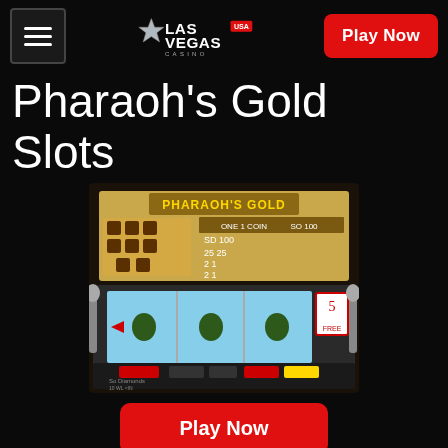Las Vegas USA Casino — Play Now
Pharaoh's Gold Slots
[Figure (screenshot): Screenshot of Pharaoh's Gold slot machine game showing a classic 3-reel slot with paytable at top and reels below]
Play Now
Do you want to take a relaxing break from playing complex slot titles that can only be understood and played when you